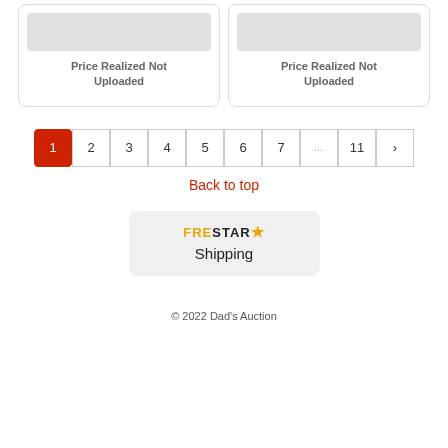[Figure (other): Two auction listing cards side by side, each showing a grey placeholder image and 'Price Realized Not Uploaded' text]
Price Realized Not Uploaded
Price Realized Not Uploaded
1 2 3 4 5 6 7 ... 11 >
Back to top
[Figure (logo): FreStar Shipping logo with star icon]
© 2022 Dad's Auction